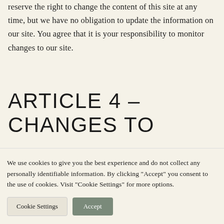reserve the right to change the content of this site at any time, but we have no obligation to update the information on our site. You agree that it is your responsibility to monitor changes to our site.
ARTICLE 4 – CHANGES TO
We use cookies to give you the best experience and do not collect any personally identifiable information. By clicking "Accept" you consent to the use of cookies. Visit "Cookie Settings" for more options.